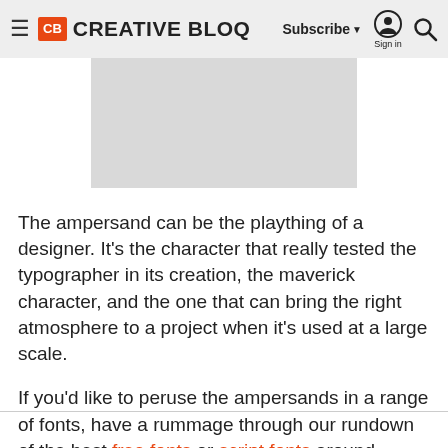CB CREATIVE BLOQ | Subscribe ▼ Sign in 🔍
[Figure (photo): Gray placeholder image area]
The ampersand can be the plaything of a designer. It's the character that really tested the typographer in its creation, the maverick character, and the one that can bring the right atmosphere to a project when it's used at a large scale.
If you'd like to peruse the ampersands in a range of fonts, have a rummage through our rundown of the best free fonts or script fonts around.